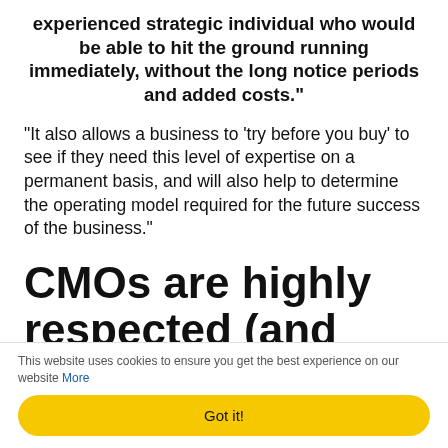experienced strategic individual who would be able to hit the ground running immediately, without the long notice periods and added costs."
"It also allows a business to 'try before you buy' to see if they need this level of expertise on a permanent basis, and will also help to determine the operating model required for the future success of the business."
CMOs are highly respected (and rightly so)
This website uses cookies to ensure you get the best experience on our website More
Got it!